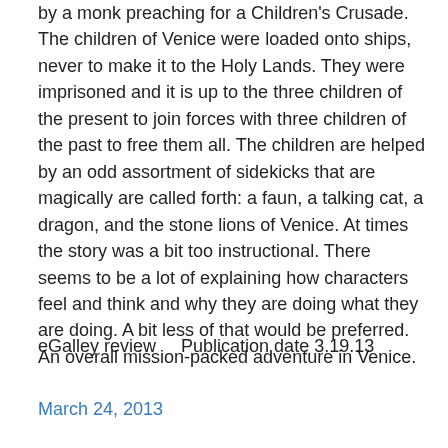by a monk preaching for a Children's Crusade. The children of Venice were loaded onto ships, never to make it to the Holy Lands. They were imprisoned and it is up to the three children of the present to join forces with three children of the past to free them all. The children are helped by an odd assortment of sidekicks that are magically are called forth: a faun, a talking cat, a dragon, and the stone lions of Venice. At times the story was a bit too instructional. There seems to be a lot of explaining how characters feel and think and why they are doing what they are doing. A bit less of that would be preferred. An overall mission-packed adventure in Venice.
eGalley review     Publication date 3.19.13
March 24, 2013